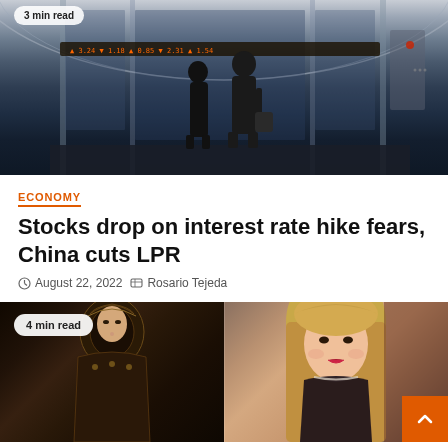[Figure (photo): Two people in dark suits standing in front of a modern glass financial building interior with curved architecture and stock ticker displays]
ECONOMY
Stocks drop on interest rate hike fears, China cuts LPR
August 22, 2022   Rosario Tejeda
[Figure (photo): Two women — one in ornate medieval costume and one with blonde hair — side by side, with '4 min read' badge overlay]